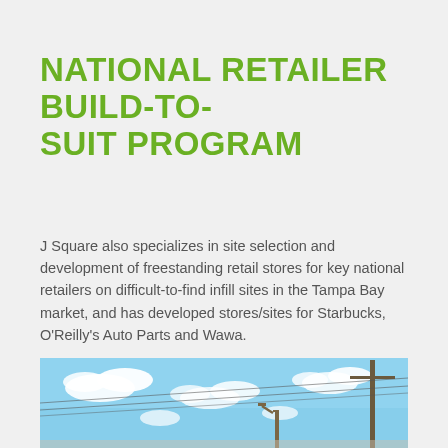NATIONAL RETAILER BUILD-TO-SUIT PROGRAM
J Square also specializes in site selection and development of freestanding retail stores for key national retailers on difficult-to-find infill sites in the Tampa Bay market, and has developed stores/sites for Starbucks, O'Reilly's Auto Parts and Wawa.
[Figure (photo): Outdoor photograph showing a blue sky with scattered white clouds and utility poles with power lines.]